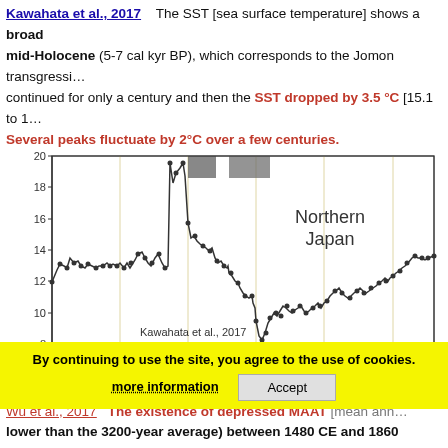Kawahata et al., 2017  The SST [sea surface temperature] shows a broad maximum at mid-Holocene (5-7 cal kyr BP), which corresponds to the Jomon transgression, continued for only a century and then the SST dropped by 3.5 °C [15.1 to 1...  Several peaks fluctuate by 2°C over a few centuries.
[Figure (continuous-plot): Line chart of SST (°C) vs Age (cal. kyr B.P.) for Northern Japan, from Kawahata et al., 2017. Y-axis from 8 to 20°C, X-axis from 0 to ~28 kyr BP. Data shows high SSTs (~16-19°C) from 0-10 kyr, dropping sharply around 10-12 kyr to ~11-13°C, with a low around 14-15 kyr (~7-8°C), recovering to ~12-15°C further back in time.]
By continuing to use the site, you agree to the use of cookies.
Wu et al., 2017  The existence of depressed MAAT [mean annual... lower than the 3200-year average) between 1480 CE and 1860